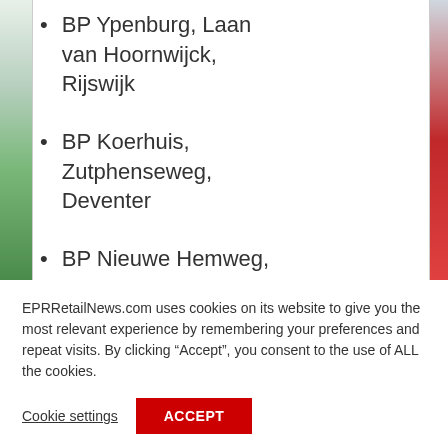BP Ypenburg, Laan van Hoornwijck, Rijswijk
BP Koerhuis, Zutphenseweg, Deventer
BP Nieuwe Hemweg, Nieuwe Hemweg, Amsterdam
EPRRetailNews.com uses cookies on its website to give you the most relevant experience by remembering your preferences and repeat visits. By clicking “Accept”, you consent to the use of ALL the cookies.
Cookie settings
ACCEPT